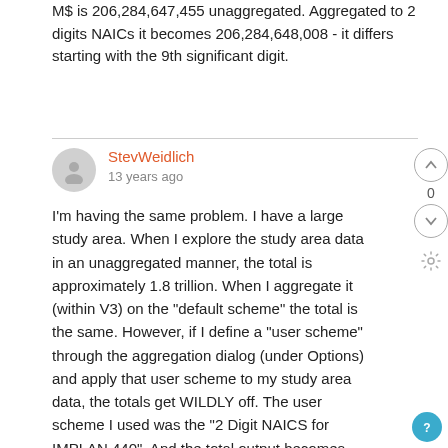M$ is 206,284,647,455 unaggregated. Aggregated to 2 digits NAICs it becomes 206,284,648,008 - it differs starting with the 9th significant digit.
StevWeidlich
13 years ago
I'm having the same problem. I have a large study area. When I explore the study area data in an unaggregated manner, the total is approximately 1.8 trillion. When I aggregate it (within V3) on the "default scheme" the total is the same. However, if I define a "user scheme" through the aggregation dialog (under Options) and apply that user scheme to my study area data, the totals get WILDLY off. The user scheme I used was the "2 Digit NAICS for IMPLAN 440". And the total output becomes $2.9 trillion. This is more than a simple rounding error and suggests that things are getting double-